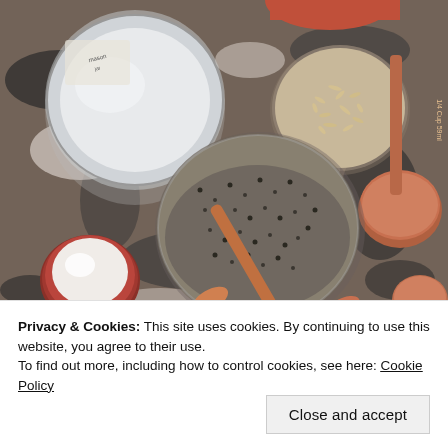[Figure (photo): Overhead/top-down photo of baking/cooking ingredients on a granite countertop. Visible items include a large open mason jar with a silver lid, a small round container with white liquid (milk), a glass jar filled with chia seeds with a copper measuring spoon resting inside, a small glass bowl with oats/rice, copper measuring cups and spoons, and a partial view of an orange container at the top. The granite is dark with white and black patterns.]
Privacy & Cookies: This site uses cookies. By continuing to use this website, you agree to their use.
To find out more, including how to control cookies, see here: Cookie Policy
Close and accept